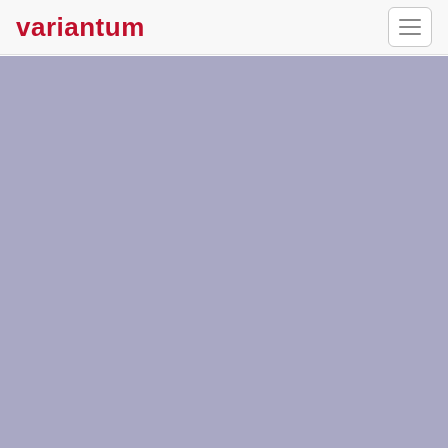variantum
[Figure (other): Large muted lavender/purple-gray solid color background area filling the main content region below the navigation header]